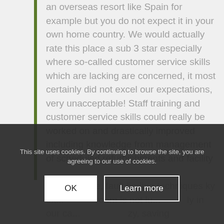an overseas resort like Spain for example but you do not expect it in your own home country. We would actually rate this place a sub 3 star especially where so-called customer service skills which are lacking are concerned, it most certainly did not excel our expectations, very unacceptable! Staff training and customer service skills could really be worked on and drastically improved including knowledge from management of scheduled refurbishments and facility
maintenance, fault finding techniques ky ex... room is not fu... ly in our ca... zy, saving maintenance entering our villa
This site uses cookies. By continuing to browse the site, you are agreeing to our use of cookies.